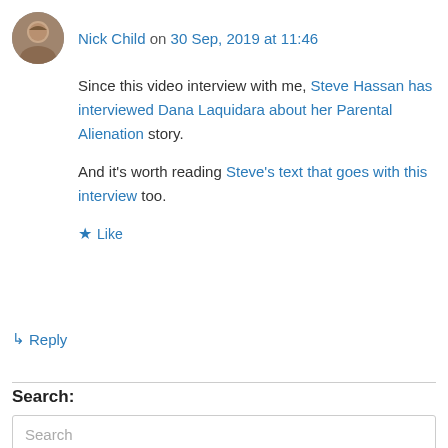Nick Child on 30 Sep, 2019 at 11:46
Since this video interview with me, Steve Hassan has interviewed Dana Laquidara about her Parental Alienation story.
And it's worth reading Steve's text that goes with this interview too.
★ Like
↳ Reply
Search:
Search